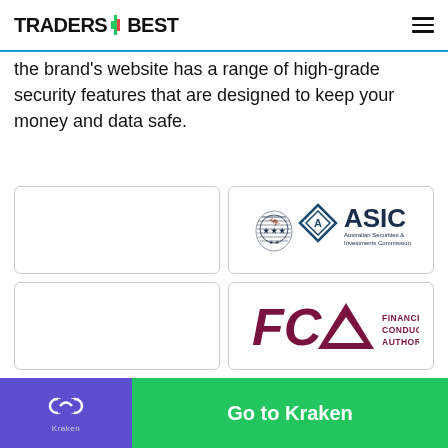TRADERS BEST
the brand's website has a range of high-grade security features that are designed to keep your money and data safe.
[Figure (logo): Empty card placeholder (left top)]
[Figure (logo): ASIC - Australian Securities & Investments Commission logo]
[Figure (logo): Empty card placeholder (left bottom)]
[Figure (logo): FCA - Financial Conduct Authority logo]
You'll only be able to log into your account by passing through the two-factor authentication test. By using the
Go to Kraken